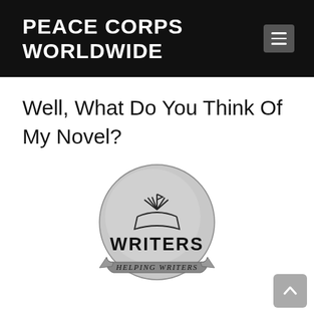PEACE CORPS WORLDWIDE
Well, What Do You Think Of My Novel?
[Figure (logo): Circular badge logo with an open book illustration at top, large text 'WRITERS' in the middle, and a banner ribbon below reading 'HELPING WRITERS']
At some point you'll want to ask “someone” to